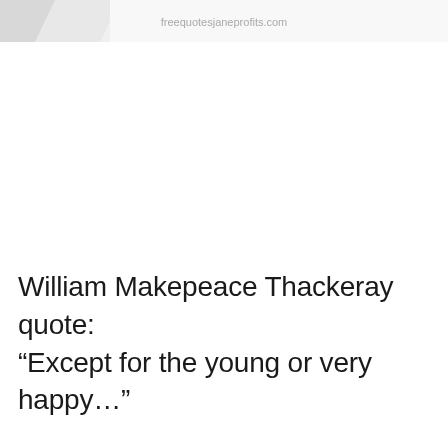freequotesjaneprofits.com
William Makepeace Thackeray quote: “Except for the young or very happy…”